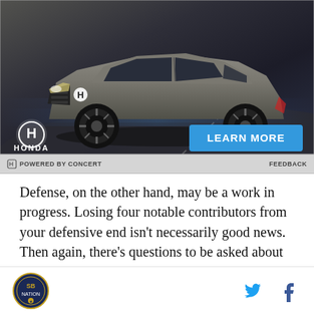[Figure (photo): Honda SUV advertisement showing a dark grey Honda crossover SUV on a road with blue glow effects. Includes Honda logo and a blue 'LEARN MORE' button.]
⚡ POWERED BY CONCERT    FEEDBACK
Defense, on the other hand, may be a work in progress. Losing four notable contributors from your defensive end isn't necessarily good news. Then again, there's questions to be asked about Seton Hall's defensive ability last season. Sure, Her Hoop Stats
[Figure (logo): Site logo (circular badge) and social media icons for Twitter and Facebook in the page footer]